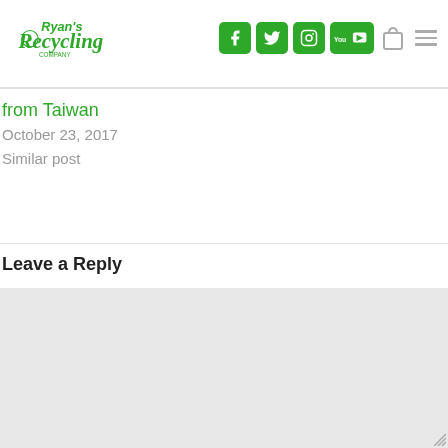Ryan's Recycling Company — navigation header with social icons
from Taiwan
October 23, 2017
Similar post
Leave a Reply
[Figure (other): Comment text area input box (empty, light gray background)]